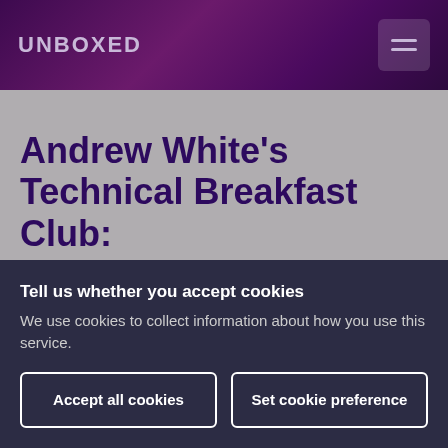UNBOXED
Andrew White's Technical Breakfast Club: Scaling up Rails in a
Tell us whether you accept cookies
We use cookies to collect information about how you use this service.
Accept all cookies
Set cookie preference